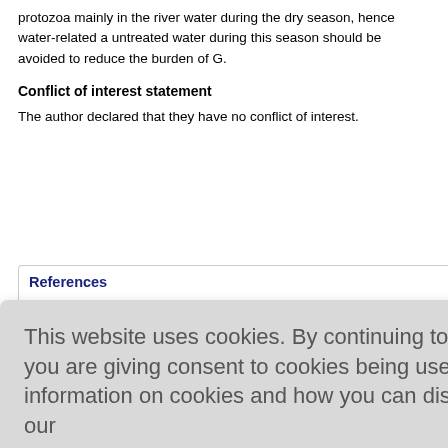protozoa mainly in the river water during the dry season, hence water-related a... untreated water during this season should be avoided to reduce the burden of G...
Conflict of interest statement
The author declared that they have no conflict of interest.
References
...sk related to...
...ndiappan H... : a new insi...
...gerth JE. C... areas of Th...
4  Karaman U, Koloren Z, Ayaz E, Demirel F, Seferoglu O. The Protozoa...
[Figure (screenshot): Cookie consent overlay with message 'This website uses cookies. By continuing to use this website you are giving consent to cookies being used. For information on cookies and how you can disable them visit our Privacy and Cookie Policy.' and an AGREE & PROCEED button.]